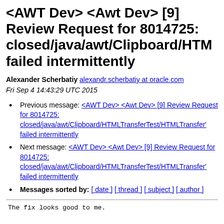<AWT Dev> <Awt Dev> [9] Review Request for 8014725: closed/java/awt/Clipboard/HTM failed intermittently
Alexander Scherbatiy alexandr.scherbatiy at oracle.com
Fri Sep 4 14:43:29 UTC 2015
Previous message: <AWT Dev> <Awt Dev> [9] Review Request for 8014725: closed/java/awt/Clipboard/HTMLTransferTest/HTMLTransfer' failed intermittently
Next message: <AWT Dev> <Awt Dev> [9] Review Request for 8014725: closed/java/awt/Clipboard/HTMLTransferTest/HTMLTransfer' failed intermittently
Messages sorted by: [ date ] [ thread ] [ subject ] [ author ]
The fix looks good to me.